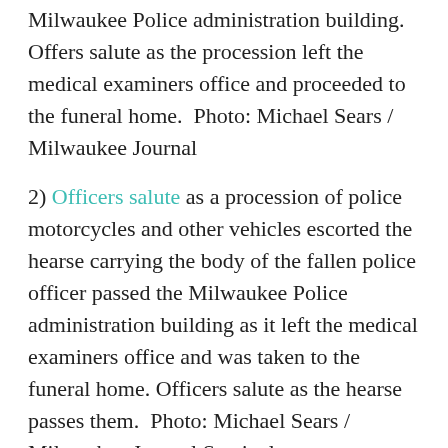Milwaukee Police administration building. Offers salute as the procession left the medical examiners office and proceeded to the funeral home.  Photo: Michael Sears / Milwaukee Journal
2) Officers salute as a procession of police motorcycles and other vehicles escorted the hearse carrying the body of the fallen police officer passed the Milwaukee Police administration building as it left the medical examiners office and was taken to the funeral home. Officers salute as the hearse passes them.  Photo: Michael Sears / Milwaukee Journal Sentinel
3) The National Basketball Association's Milwaukee Bucks and Fiserv, Inc. (NASDAQ: FISV), announced on July 26 that Fiserv has signed an exclusive naming rights agreement for the nearly completed Wisconsin